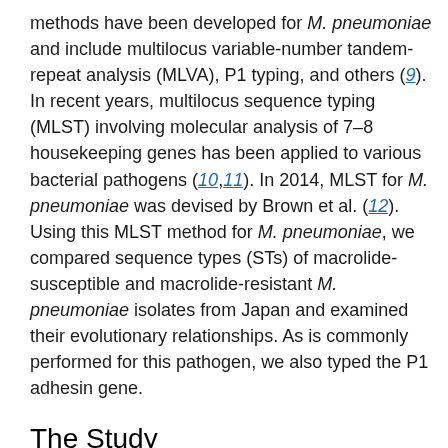methods have been developed for M. pneumoniae and include multilocus variable-number tandem-repeat analysis (MLVA), P1 typing, and others (9). In recent years, multilocus sequence typing (MLST) involving molecular analysis of 7–8 housekeeping genes has been applied to various bacterial pathogens (10,11). In 2014, MLST for M. pneumoniae was devised by Brown et al. (12). Using this MLST method for M. pneumoniae, we compared sequence types (STs) of macrolide-susceptible and macrolide-resistant M. pneumoniae isolates from Japan and examined their evolutionary relationships. As is commonly performed for this pathogen, we also typed the P1 adhesin gene.
The Study
Using the results of functions of Excel 2010 (Microsoft...